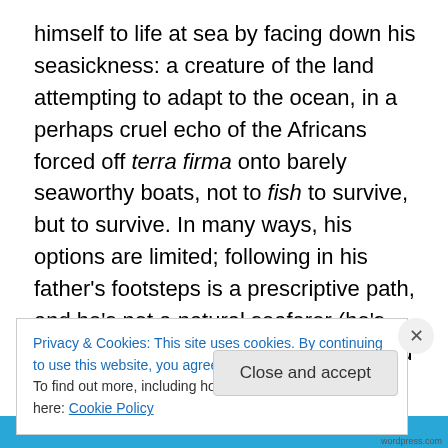himself to life at sea by facing down his seasickness: a creature of the land attempting to adapt to the ocean, in a perhaps cruel echo of the Africans forced off terra firma onto barely seaworthy boats, not to fish to survive, but to survive. In many ways, his options are limited; following in his father's footsteps is a prescriptive path, and he's not a natural seafarer (he's sick over the side of his dad's boat and turns the colour of paste). The options on Lampedusa are few, and the modern, interconnected world far away (the modernity of the doctor's Apple monitor jars). This 12-year-old might understandably wish to leave for the
Privacy & Cookies: This site uses cookies. By continuing to use this website, you agree to their use.
To find out more, including how to control cookies, see here: Cookie Policy